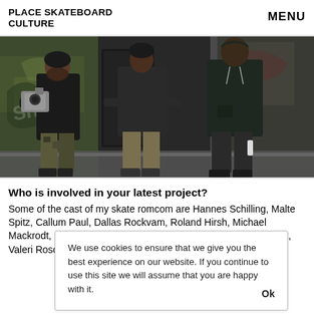PLACE SKATEBOARD CULTURE   MENU
[Figure (photo): Three men standing in front of a graffiti wall. The man on the left holds a camera. The men wear casual urban clothing including a camo jacket and dark jackets.]
Who is involved in your latest project?
Some of the cast of my skate romcom are Hannes Schilling, Malte Spitz, Callum Paul, Dallas Rockvam, Roland Hirsh, Michael Mackrodt, Sergej Vutuc, Juan Esteban Saavedera, Kevin Besset, Valeri Rosomako, Rem... Gun... Car...
We use cookies to ensure that we give you the best experience on our website. If you continue to use this site we will assume that you are happy with it.   Ok
The movie will be shown today at Villa Neukölln. For